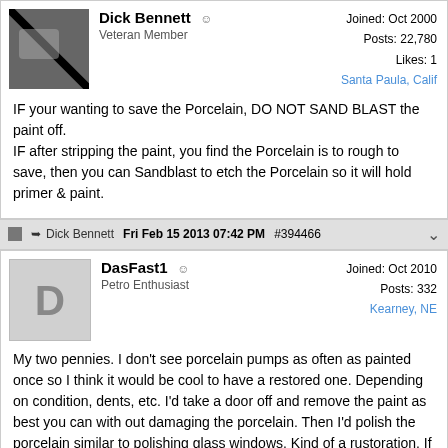[Figure (photo): User avatar photo for Dick Bennett showing a dark image with diagonal stripe]
Dick Bennett
Veteran Member
Joined: Oct 2000
Posts: 22,780
Likes: 1
Santa Paula, Calif
IF your wanting to save the Porcelain, DO NOT SAND BLAST the paint off.
IF after stripping the paint, you find the Porcelain is to rough to save, then you can Sandblast to etch the Porcelain so it will hold primer & paint.
Dick Bennett   Fri Feb 15 2013 07:42 PM   #394466
[Figure (illustration): User avatar placeholder showing letter D for DasFast1]
DasFast1
Petro Enthusiast
Joined: Oct 2010
Posts: 332
Kearney, NE
My two pennies. I don't see porcelain pumps as often as painted once so I think it would be cool to have a restored one. Depending on condition, dents, etc. I'd take a door off and remove the paint as best you can with out damaging the porcelain. Then I'd polish the porcelain similar to polishing glass windows. Kind of a rustoration. If